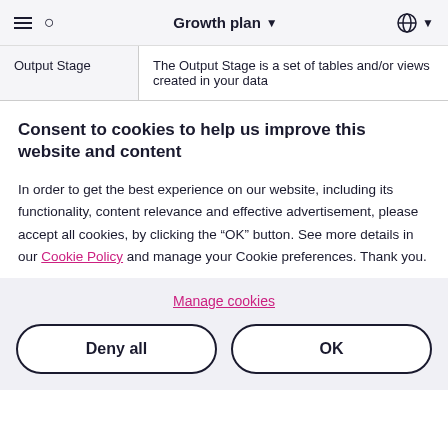Growth plan
| Output Stage | The Output Stage is a set of tables and/or views created in your data |
Consent to cookies to help us improve this website and content
In order to get the best experience on our website, including its functionality, content relevance and effective advertisement, please accept all cookies, by clicking the “OK” button. See more details in our Cookie Policy and manage your Cookie preferences. Thank you.
Manage cookies
Deny all
OK